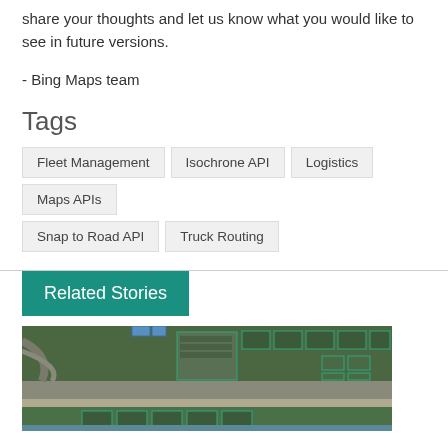share your thoughts and let us know what you would like to see in future versions.
- Bing Maps team
Tags
Fleet Management
Isochrone API
Logistics
Maps APIs
Snap to Road API
Truck Routing
Related Stories
[Figure (photo): Aerial satellite map view showing roads, buildings, and green spaces]